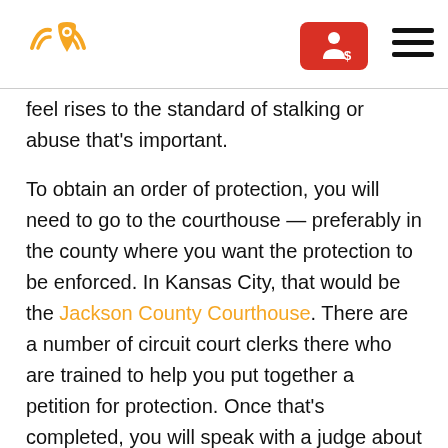[Logo: location pin with radio waves] [Red button with person/dollar icon] [Hamburger menu]
feel rises to the standard of stalking or abuse that's important.
To obtain an order of protection, you will need to go to the courthouse — preferably in the county where you want the protection to be enforced. In Kansas City, that would be the Jackson County Courthouse. There are a number of circuit court clerks there who are trained to help you put together a petition for protection. Once that's completed, you will speak with a judge about why you feel you need a protection order. And in most circumstances, you will be granted an immediate temporary order of protection that will impose